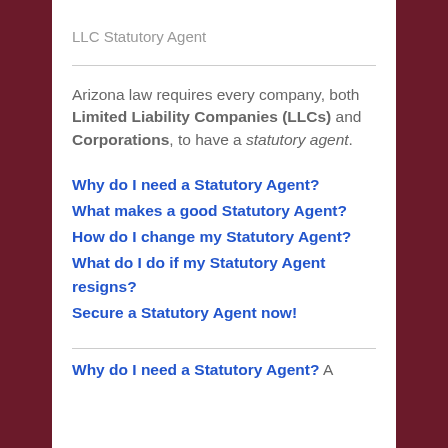LLC Statutory Agent
Arizona law requires every company, both Limited Liability Companies (LLCs) and Corporations, to have a statutory agent.
Why do I need a Statutory Agent?
What makes a good Statutory Agent?
How do I change my Statutory Agent?
What do I do if my Statutory Agent resigns?
Secure a Statutory Agent now!
Why do I need a Statutory Agent? A